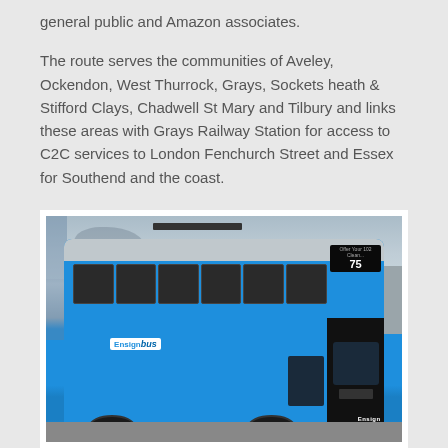general public and Amazon associates.
The route serves the communities of Aveley, Ockendon, West Thurrock, Grays, Sockets heath & Stifford Clays, Chadwell St Mary and Tilbury and links these areas with Grays Railway Station for access to C2C services to London Fenchurch Street and Essex for Southend and the coast.
[Figure (photo): A blue Ensign double-decker bus parked in a bus depot or car park. The bus has a blue and grey livery with the Ensign Bus logo on the side. The front destination blind shows route 75. The word 'Ensign' appears on the front of the bus. The background shows bare trees and a grey sky.]